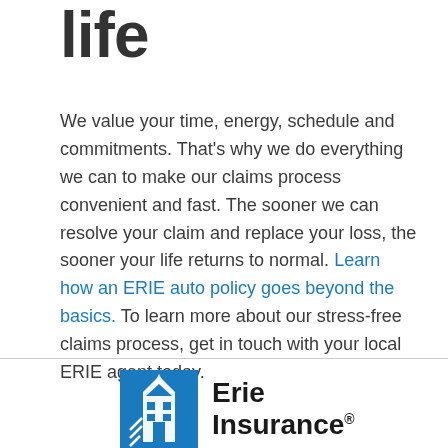life
We value your time, energy, schedule and commitments. That's why we do everything we can to make our claims process convenient and fast. The sooner we can resolve your claim and replace your loss, the sooner your life returns to normal. Learn how an ERIE auto policy goes beyond the basics. To learn more about our stress-free claims process, get in touch with your local ERIE agent today.
[Figure (logo): Erie Insurance logo — blue building/steeple icon on the left, with 'Erie Insurance' text and registered trademark symbol on the right]